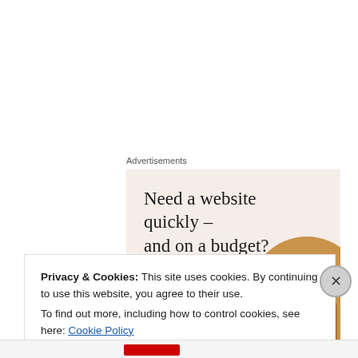Advertisements
[Figure (illustration): Advertisement banner with beige/blush background. Large serif headline reads 'Need a website quickly – and on a budget?' with subtext 'Let us build it for you' and a white button 'Let's get started'. Right side shows a circular cropped photo of a person wearing a brown/mustard sweater working at a desk.]
Privacy & Cookies: This site uses cookies. By continuing to use this website, you agree to their use.
To find out more, including how to control cookies, see here: Cookie Policy
Close and accept